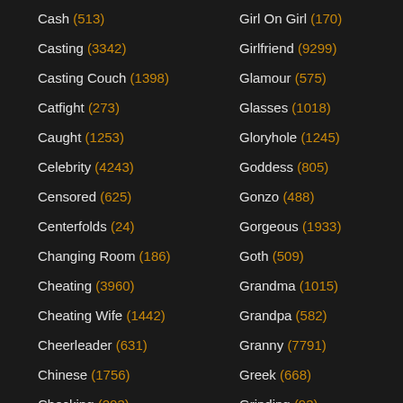Cash (513)
Casting (3342)
Casting Couch (1398)
Catfight (273)
Caught (1253)
Celebrity (4243)
Censored (625)
Centerfolds (24)
Changing Room (186)
Cheating (3960)
Cheating Wife (1442)
Cheerleader (631)
Chinese (1756)
Chocking (203)
Chubby (3280)
Girl On Girl (170)
Girlfriend (9299)
Glamour (575)
Glasses (1018)
Gloryhole (1245)
Goddess (805)
Gonzo (488)
Gorgeous (1933)
Goth (509)
Grandma (1015)
Grandpa (582)
Granny (7791)
Greek (668)
Grinding (93)
Groping (252)